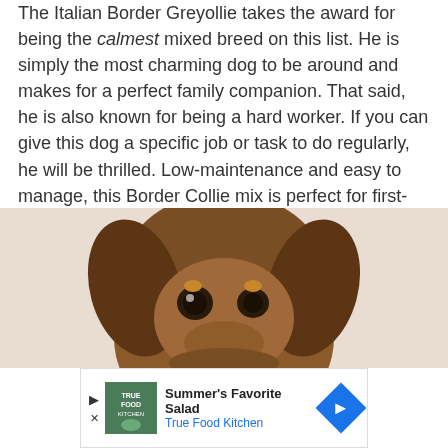The Italian Border Greyollie takes the award for being the calmest mixed breed on this list. He is simply the most charming dog to be around and makes for a perfect family companion. That said, he is also known for being a hard worker. If you can give this dog a specific job or task to do regularly, he will be thrilled. Low-maintenance and easy to manage, this Border Collie mix is perfect for first-time dog owners.
21. Bordie Collie Doberman Mix (Doberman Collie)
[Figure (photo): Close-up photo of a brown dog's face, partially cropped, showing the top of the head and one eye of what appears to be a Doberman Collie mix.]
Summer's Favorite Salad
True Food Kitchen